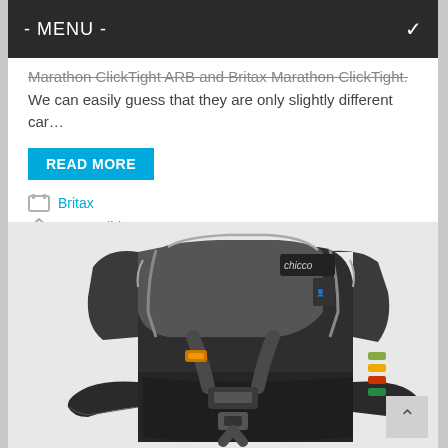- MENU -
Marathon ClickTight ARB and Britax Marathon ClickTight. We can easily guess that they are only slightly different car…
READ MORE
Britax
Convertible Car Seat
[Figure (photo): Chicco brand child car seat / convertible booster seat in dark charcoal/grey with harness straps, armrests, and side-impact protection wings, shown at an angle.]